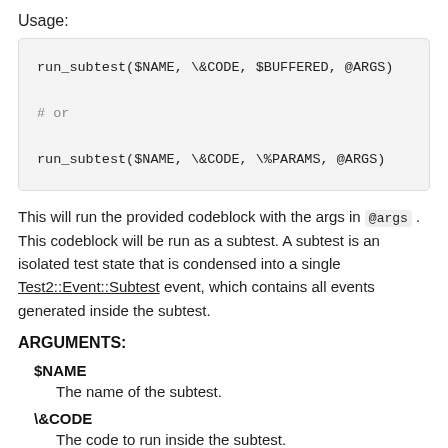Usage:
run_subtest($NAME, \&CODE, $BUFFERED, @ARGS)

# or

run_subtest($NAME, \&CODE, \%PARAMS, @ARGS)
This will run the provided codeblock with the args in @args . This codeblock will be run as a subtest. A subtest is an isolated test state that is condensed into a single Test2::Event::Subtest event, which contains all events generated inside the subtest.
ARGUMENTS:
$NAME
The name of the subtest.
\&CODE
The code to run inside the subtest.